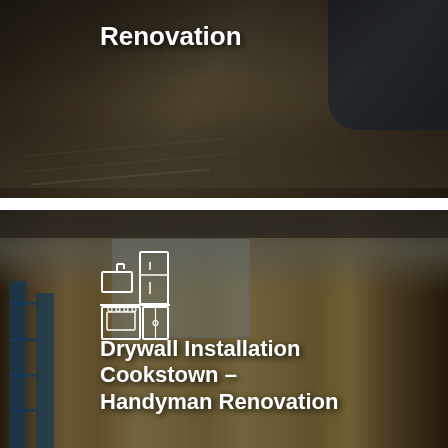[Figure (photo): Photo of a person writing/planning on blueprints at a desk with tools, overlaid with bold white text reading 'Renovation' — top portion of a two-card layout for a handyman/renovation service]
Renovation
[Figure (photo): Photo of two workers installing drywall in a framed room with wood studs visible and windows in background, with a kitchen icon (appliances outline) and bold white text 'Drywall Installation Cookstown – Handyman Renovation']
Drywall Installation Cookstown – Handyman Renovation